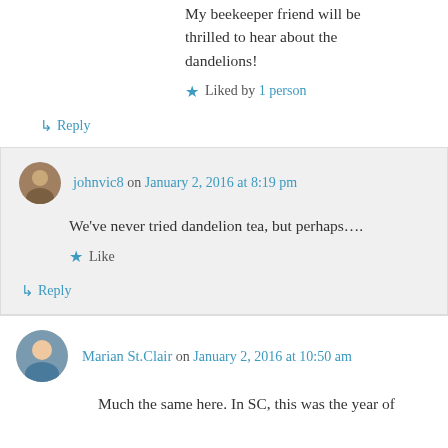My beekeeper friend will be thrilled to hear about the dandelions!
Liked by 1 person
↳ Reply
johnvic8 on January 2, 2016 at 8:19 pm
We've never tried dandelion tea, but perhaps....
Like
↳ Reply
Marian St.Clair on January 2, 2016 at 10:50 am
Much the same here. In SC, this was the year of